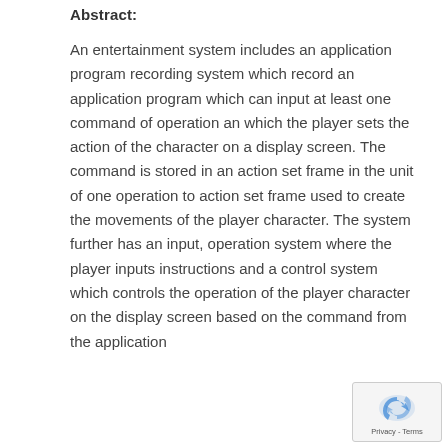Abstract:
An entertainment system includes an application program recording system which record an application program which can input at least one command of operation an which the player sets the action of the character on a display screen. The command is stored in an action set frame in the unit of one operation to action set frame used to create the movements of the player character. The system further has an input, operation system where the player inputs instructions and a control system which controls the operation of the player character on the display screen based on the command from the application